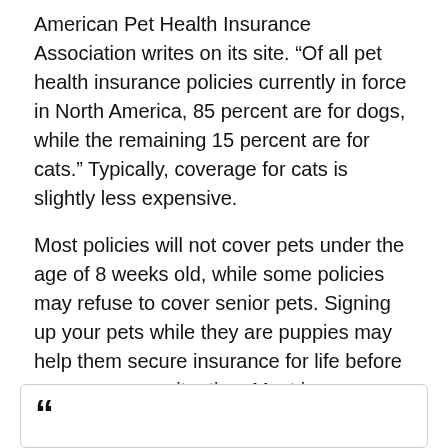American Pet Health Insurance Association writes on its site. “Of all pet health insurance policies currently in force in North America, 85 percent are for dogs, while the remaining 15 percent are for cats.” Typically, coverage for cats is slightly less expensive.
Most policies will not cover pets under the age of 8 weeks old, while some policies may refuse to cover senior pets. Signing up your pets while they are puppies may help them secure insurance for life before an emergency situation. Most insurance plans will not cover treatment of a preexisting condition and may be conditional for certain inherited medical issues.
Is it worth it?
[Figure (other): Opening double quotation mark in a bordered box, indicating start of a block quote]